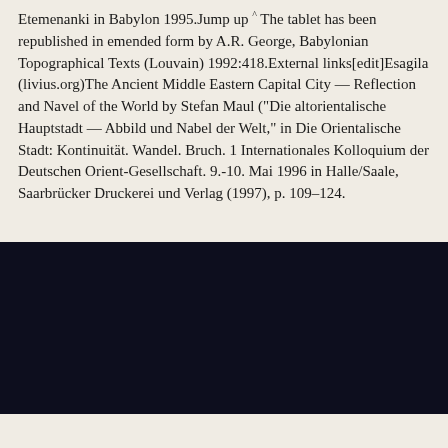Etemenanki in Babylon 1995.Jump up ^ The tablet has been republished in emended form by A.R. George, Babylonian Topographical Texts (Louvain) 1992:418.External links[edit]Esagila (livius.org)The Ancient Middle Eastern Capital City — Reflection and Navel of the World by Stefan Maul ("Die altorientalische Hauptstadt — Abbild und Nabel der Welt," in Die Orientalische Stadt: Kontinuität. Wandel. Bruch. 1 Internationales Kolloquium der Deutschen Orient-Gesellschaft. 9.-10. Mai 1996 in Halle/Saale, Saarbrücker Druckerei und Verlag (1997), p. 109–124.
[Figure (photo): Dark navy/black rectangular block, likely a video player or embedded media element in a dark theme]